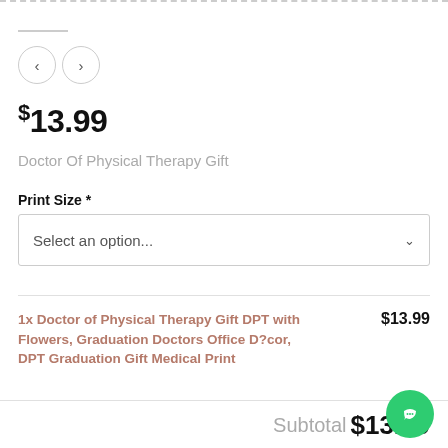$13.99
Doctor Of Physical Therapy Gift
Print Size *
Select an option...
1x Doctor of Physical Therapy Gift DPT with Flowers, Graduation Doctors Office D?cor, DPT Graduation Gift Medical Print
$13.99
Subtotal $13.99